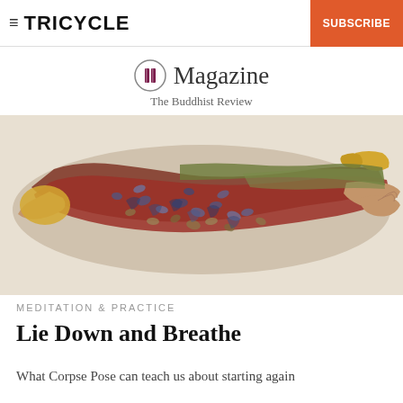TRICYCLE  SUBSCRIBE
Magazine
The Buddhist Review
[Figure (illustration): Painting of a person lying down in corpse pose (Savasana), seen from above. Figure wears a reddish-brown patterned garment with blue and gold details. The body appears elongated on a pale background with yellow accents at feet and head area.]
MEDITATION & PRACTICE
Lie Down and Breathe
What Corpse Pose can teach us about starting again